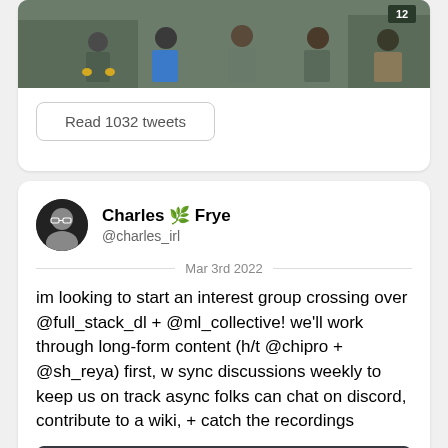[Figure (photo): Group photo of several people in military/outdoor gear standing in front of military vehicles]
Read 1032 tweets
Charles 🌿 Frye
@charles_irl
Mar 3rd 2022
im looking to start an interest group crossing over @full_stack_dl + @ml_collective! we'll work through long-form content (h/t @chipro + @sh_reya) first, w sync discussions weekly to keep us on track async folks can chat on discord, contribute to a wiki, + catch the recordings
[Figure (screenshot): Discord chat screenshot showing charles_irl saying Hey all! and starting to write about an interest group on ML in Production]